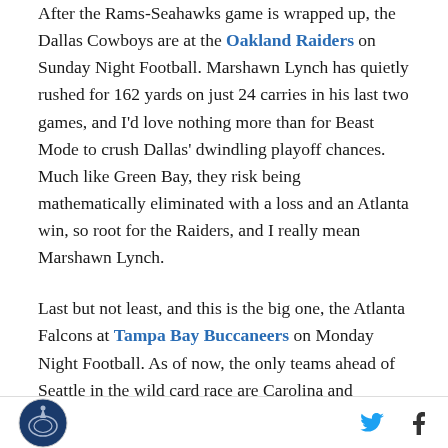After the Rams-Seahawks game is wrapped up, the Dallas Cowboys are at the Oakland Raiders on Sunday Night Football. Marshawn Lynch has quietly rushed for 162 yards on just 24 carries in his last two games, and I'd love nothing more than for Beast Mode to crush Dallas' dwindling playoff chances. Much like Green Bay, they risk being mathematically eliminated with a loss and an Atlanta win, so root for the Raiders, and I really mean Marshawn Lynch.
Last but not least, and this is the big one, the Atlanta Falcons at Tampa Bay Buccaneers on Monday Night Football. As of now, the only teams ahead of Seattle in the wild card race are Carolina and Atlanta. The one thing that cannot happen is for the Seahawks to fall a
[logo] [twitter icon] [facebook icon]